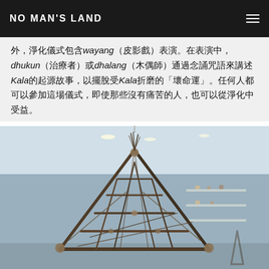NO MAN'S LAND
外，淨化儀式包含wayang（皮影戲）表演。在表演中，dhukun（治療者）或dhalang（木偶師）通過念誦咒語來講述Kala的起源故事，以擺脫受Kala折磨的「壞命運」。任何人都可以參加這場儀式，即使那些沒有痛苦的人，也可以從淨化中受益。
[Figure (photo): A triangular sculpture made of twisted twigs and branches, hanging or standing in a gallery space with blue-grey walls and display shelves visible in the background.]